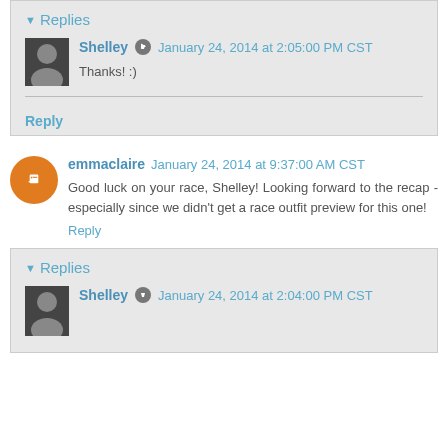Replies
Shelley  January 24, 2014 at 2:05:00 PM CST
Thanks! :)
Reply
emmaclaire  January 24, 2014 at 9:37:00 AM CST
Good luck on your race, Shelley! Looking forward to the recap - especially since we didn't get a race outfit preview for this one!
Reply
Replies
Shelley  January 24, 2014 at 2:04:00 PM CST